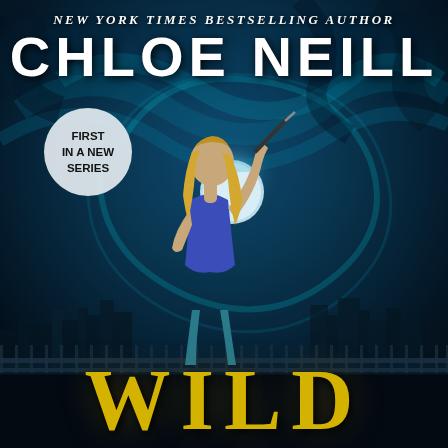[Figure (illustration): Book cover for 'Wild' by Chloe Neill. Features a blonde woman in a blue halter top and teal jeans holding a sword/weapon over her shoulder, standing on a rooftop railing with a city skyline at night behind her. Teal swirling energy and a full moon are visible in the dramatic dark sky background.]
NEW YORK TIMES BESTSELLING AUTHOR
CHLOE NEILL
FIRST IN A NEW SERIES
WILD